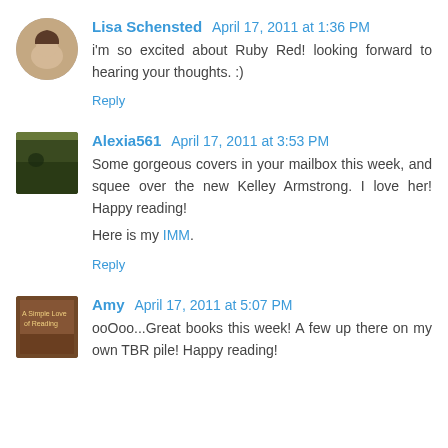Lisa Schensted April 17, 2011 at 1:36 PM
i'm so excited about Ruby Red! looking forward to hearing your thoughts. :)
Reply
Alexia561 April 17, 2011 at 3:53 PM
Some gorgeous covers in your mailbox this week, and squee over the new Kelley Armstrong. I love her! Happy reading!

Here is my IMM.
Reply
Amy April 17, 2011 at 5:07 PM
ooOoo...Great books this week! A few up there on my own TBR pile! Happy reading!